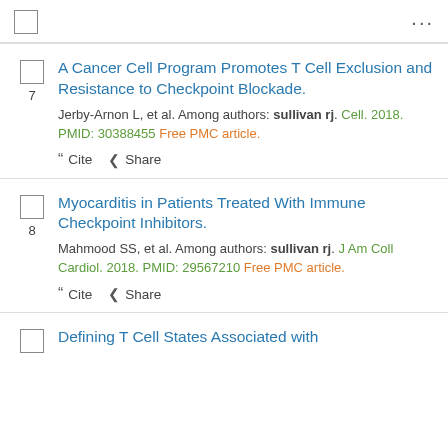checkbox  ...
7. A Cancer Cell Program Promotes T Cell Exclusion and Resistance to Checkpoint Blockade. Jerby-Arnon L, et al. Among authors: sullivan rj. Cell. 2018. PMID: 30388455 Free PMC article.
8. Myocarditis in Patients Treated With Immune Checkpoint Inhibitors. Mahmood SS, et al. Among authors: sullivan rj. J Am Coll Cardiol. 2018. PMID: 29567210 Free PMC article.
Defining T Cell States Associated with